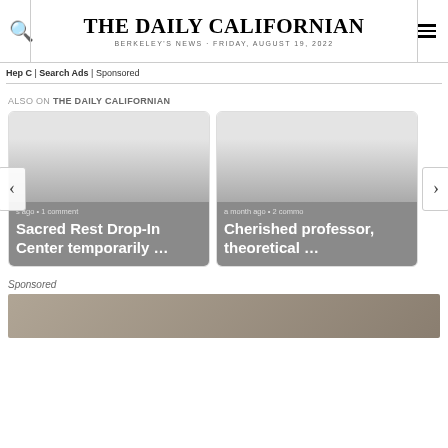THE DAILY CALIFORNIAN — BERKELEY'S NEWS · FRIDAY, AUGUST 19, 2022
Hep C | Search Ads | Sponsored
ALSO ON THE DAILY CALIFORNIAN
[Figure (screenshot): Article card: '...s ago • 1 comment — Sacred Rest Drop-In Center temporarily ...']
[Figure (screenshot): Article card: 'a month ago • 2 comm... — Cherished professor, theoretical ...']
Sponsored
[Figure (photo): Sponsored image, partially visible, appears to show a book or document]